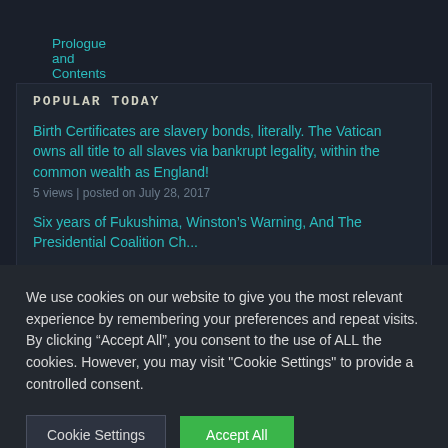Prologue and Contents to “Wisdom and Freedom”
POPULAR TODAY
Birth Certificates are slavery bonds, literally. The Vatican owns all title to all slaves via bankrupt legality, within the common wealth as England!
5 views | posted on July 28, 2017
Six years of Fukushima, Winston’s Warning, And The Presidential Coalition Ch...
We use cookies on our website to give you the most relevant experience by remembering your preferences and repeat visits. By clicking “Accept All”, you consent to the use of ALL the cookies. However, you may visit "Cookie Settings" to provide a controlled consent.
Cookie Settings
Accept All